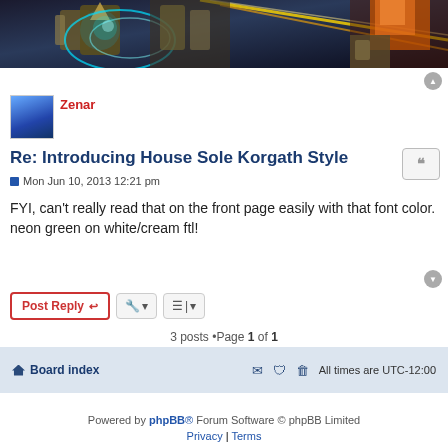[Figure (illustration): Fantasy game artwork banner showing armored characters with glowing effects in blue and gold, orange-haired character on right]
Zenar
Re: Introducing House Sole Korgath Style
Mon Jun 10, 2013 12:21 pm
FYI, can't really read that on the front page easily with that font color. neon green on white/cream ftl!
3 posts •Page 1 of 1
Board index   All times are UTC-12:00
Powered by phpBB® Forum Software © phpBB Limited
Privacy | Terms